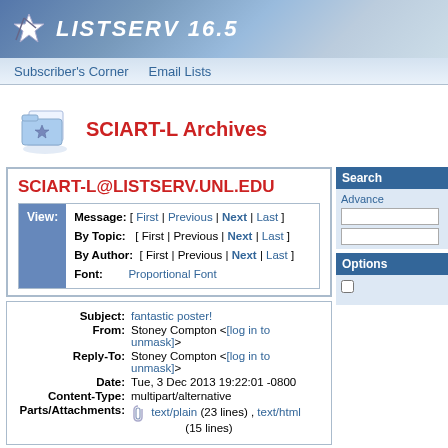LISTSERV 16.5
Subscriber's Corner   Email Lists
SCIART-L Archives
SCIART-L@LISTSERV.UNL.EDU
View: Message: [ First | Previous | Next | Last ] By Topic: [ First | Previous | Next | Last ] By Author: [ First | Previous | Next | Last ] Font: Proportional Font
Subject: fantastic poster! From: Stoney Compton <[log in to unmask]> Reply-To: Stoney Compton <[log in to unmask]> Date: Tue, 3 Dec 2013 19:22:01 -0800 Content-Type: multipart/alternative Parts/Attachments: text/plain (23 lines) , text/html (15 lines)
Hi Folks